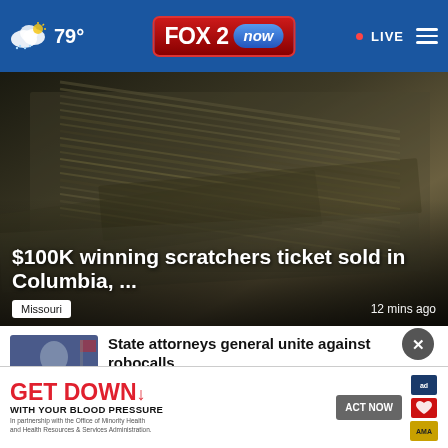79° FOX 2 now • LIVE
[Figure (photo): Close-up photo of stacked paper money / cash bills fanned out, dark background]
$100K winning scratchers ticket sold in Columbia, ...
Missouri   12 mins ago
[Figure (photo): Thumbnail of man in suit, attorney general related news]
State attorneys general unite against robocalls
Missouri • 37 mins ago
[Figure (photo): Thumbnail with police lights, partially visible article about man shot in crossfire]
Man shot in crossfire while riding a
[Figure (infographic): Advertisement banner: GET DOWN with your blood pressure. ACT NOW button. In partnership with the Office of Minority Health and Health Resources & Services Administration. Ad Council, American Heart Association, AMA logos.]